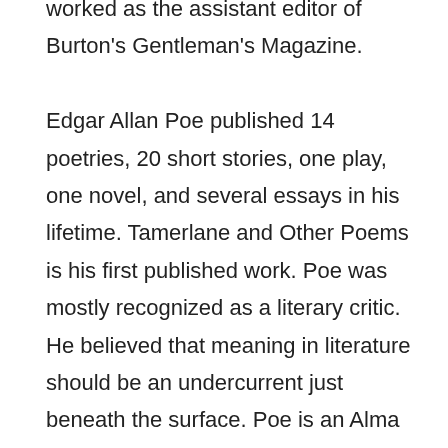worked as the assistant editor of Burton's Gentleman's Magazine. Edgar Allan Poe published 14 poetries, 20 short stories, one play, one novel, and several essays in his lifetime. Tamerlane and Other Poems is his first published work. Poe was mostly recognized as a literary critic. He believed that meaning in literature should be an undercurrent just beneath the surface. Poe is an Alma mater of the University of Virginia and also joined the United States Army as a private.